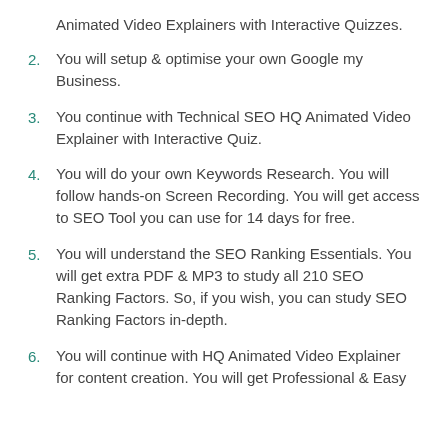Animated Video Explainers with Interactive Quizzes.
You will setup & optimise your own Google my Business.
You continue with Technical SEO HQ Animated Video Explainer with Interactive Quiz.
You will do your own Keywords Research. You will follow hands-on Screen Recording. You will get access to SEO Tool you can use for 14 days for free.
You will understand the SEO Ranking Essentials. You will get extra PDF & MP3 to study all 210 SEO Ranking Factors. So, if you wish, you can study SEO Ranking Factors in-depth.
You will continue with HQ Animated Video Explainer for content creation. You will get Professional & Easy